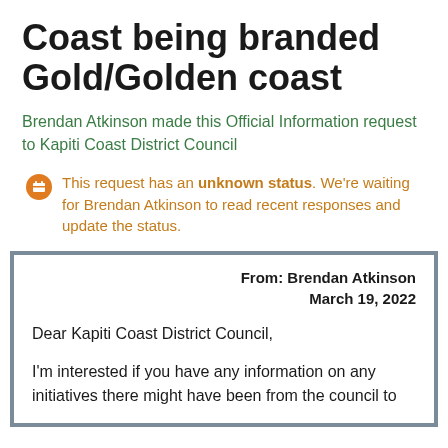Coast being branded Gold/Golden coast
Brendan Atkinson made this Official Information request to Kapiti Coast District Council
This request has an unknown status. We're waiting for Brendan Atkinson to read recent responses and update the status.
From: Brendan Atkinson
March 19, 2022
Dear Kapiti Coast District Council,
I'm interested if you have any information on any initiatives there might have been from the council to